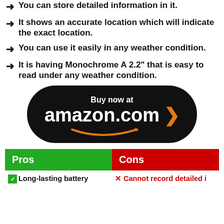You can store detailed information in it.
It shows an accurate location which will indicate the exact location.
You can use it easily in any weather condition.
It is having Monochrome A 2.2" that is easy to read under any weather condition.
[Figure (other): Buy now at amazon.com button with orange arrow chevron and smile logo]
| Pros | Cons |
| --- | --- |
| Long-lasting battery | Cannot record detailed i |